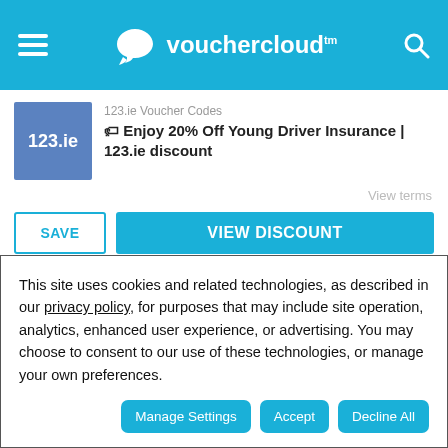vouchercloud
123.ie Voucher Codes
🏷 Enjoy 20% Off Young Driver Insurance | 123.ie discount
View terms
SAVE
VIEW DISCOUNT
Scbvb Discount Codes
This site uses cookies and related technologies, as described in our privacy policy, for purposes that may include site operation, analytics, enhanced user experience, or advertising. You may choose to consent to our use of these technologies, or manage your own preferences.
Manage Settings
Accept
Decline All